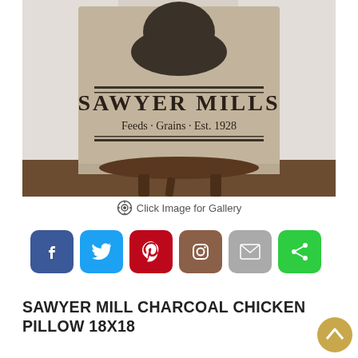[Figure (photo): A decorative pillow with a rooster/chicken graphic and text reading 'SAWYER MILLS Feeds · Grains · Est. 1928' on a rustic linen fabric, leaning against a wooden stool in front of white shiplap wall.]
Click Image for Gallery
[Figure (infographic): Social sharing icons: Facebook, Twitter, Pinterest, Instagram, Email, Share]
SAWYER MILL CHARCOAL CHICKEN PILLOW 18X18